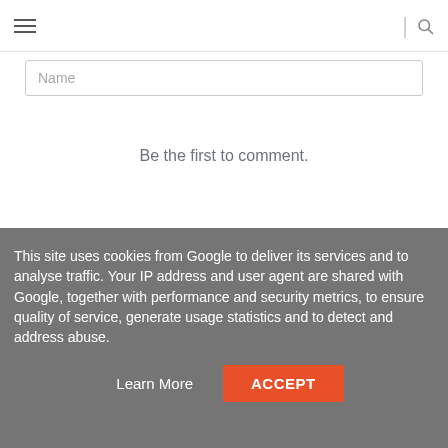Navigation bar with hamburger menu and search icon
Name (input field placeholder)
Be the first to comment.
Subscribe  Add Disqus  Do Not Sell My Data  DISQUS
This site uses cookies from Google to deliver its services and to analyse traffic. Your IP address and user agent are shared with Google, together with performance and security metrics, to ensure quality of service, generate usage statistics and to detect and address abuse.
Learn More  ACCEPT